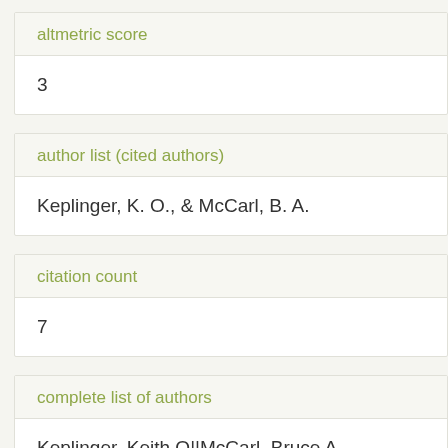altmetric score
3
author list (cited authors)
Keplinger, K. O., & McCarl, B. A.
citation count
7
complete list of authors
Keplinger, Keith O||McCarl, Bruce A.